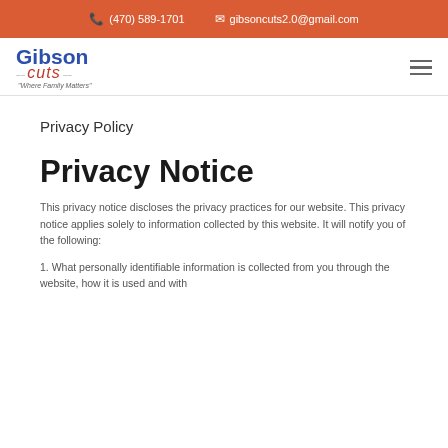(470) 589-1701   gibsoncuts2.0@gmail.com
[Figure (logo): Gibson Cuts logo with tagline 'Where Family Matters']
Privacy Policy
Privacy Notice
This privacy notice discloses the privacy practices for our website. This privacy notice applies solely to information collected by this website. It will notify you of the following:
1. What personally identifiable information is collected from you through the website, how it is used and with